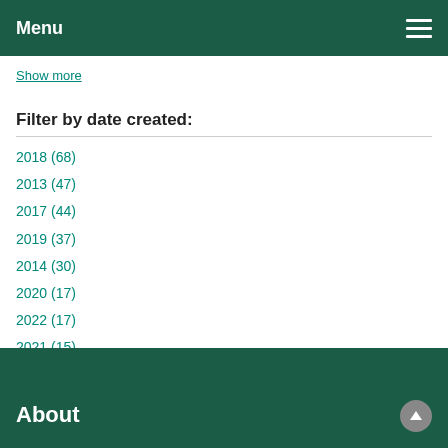Menu
Show more
Filter by date created:
2018 (68)
2013 (47)
2017 (44)
2019 (37)
2014 (30)
2020 (17)
2022 (17)
2021 (15)
2016 (14)
2015 (12)
2010 (2)
2011 (1)
2012 (1)
About